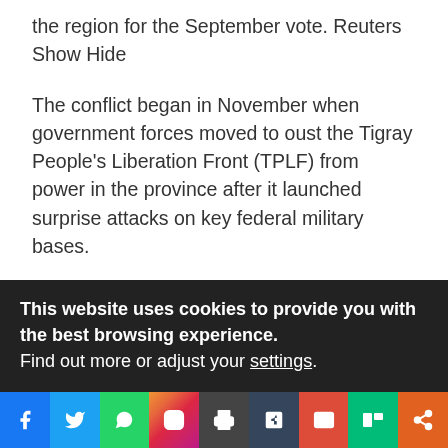the region for the September vote. Reuters Show Hide
The conflict began in November when government forces moved to oust the Tigray People's Liberation Front (TPLF) from power in the province after it launched surprise attacks on key federal military bases.
Though the Ethiopian army, pro-government militia and troops sent by neighbouring Eritrea were initially victorious, the conflict has become a grinding insurgency marked by atrocities including many massacres of
This website uses cookies to provide you with the best browsing experience.
Find out more or adjust your settings.
[Figure (infographic): Social media sharing bar with icons: Facebook, Twitter, WhatsApp, Instagram, Print, Tumblr, Mail, Mix, Share]